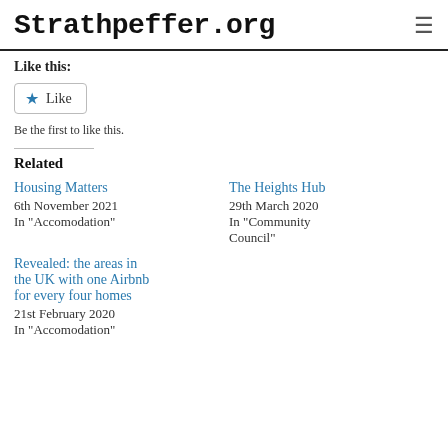Strathpeffer.org
Like this:
Like
Be the first to like this.
Related
Housing Matters
6th November 2021
In "Accomodation"
The Heights Hub
29th March 2020
In "Community Council"
Revealed: the areas in the UK with one Airbnb for every four homes
21st February 2020
In "Accomodation"